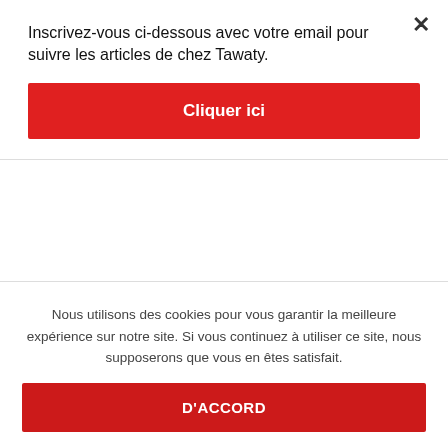Inscrivez-vous ci-dessous avec votre email pour suivre les articles de chez Tawaty.
Cliquer ici
couples seeking men hookup sites
couples seeking men hookuphotties dating
Couples Seeking Men review
Couples Seeking Men reviews
couples seeking men sign in
Nous utilisons des cookies pour vous garantir la meilleure expérience sur notre site. Si vous continuez à utiliser ce site, nous supposerons que vous en êtes satisfait.
D'ACCORD
Lrainst hookup reviews